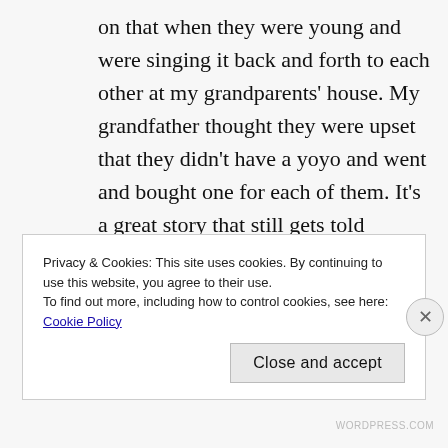on that when they were young and were singing it back and forth to each other at my grandparents' house. My grandfather thought they were upset that they didn't have a yoyo and went and bought one for each of them. It's a great story that still gets told frequently.
REPLY
Privacy & Cookies: This site uses cookies. By continuing to use this website, you agree to their use.
To find out more, including how to control cookies, see here: Cookie Policy
Close and accept
WORDPRESS.COM